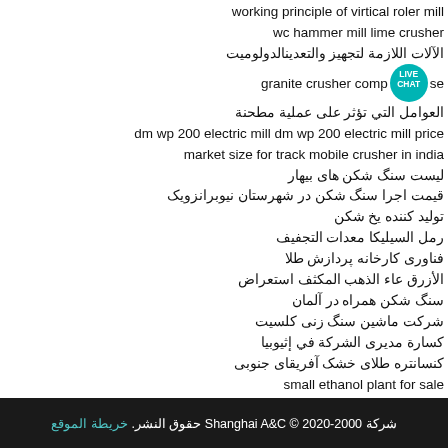working principle of virtical roler mill
wc hammer mill lime crusher
الآلات اللازمة لتجهيز والتعدينالدولوميت
granite crusher comp [LIVE CHAT] se
العوامل التي تؤثر على عملية مطحنة
dm wp 200 electric mill dm wp 200 electric mill price
market size for track mobile crusher in india
لیست سنگ شکن های بیهار
قیمت اجرا سنگ شکن در شهرستان نیوبرانزویک
تولید کننده یخ شکن
رمل السیلیکا معدات التجفیف
فناوری کارخانه پردازش طلا
الأزرق عاء الذهب المکثف استعراض
سنگ شکن همراه در آلمان
شرکت ماشین سنگ زنی کلسیت
کسارة مدیری الشرکة في إثیوبیا
کنسانتره طلای خشک آفریقای جنوبی
small ethanol plant for sale
شرکة 2000-2020 © Shanghai A&C حقوق النشر. خریطة الموقع